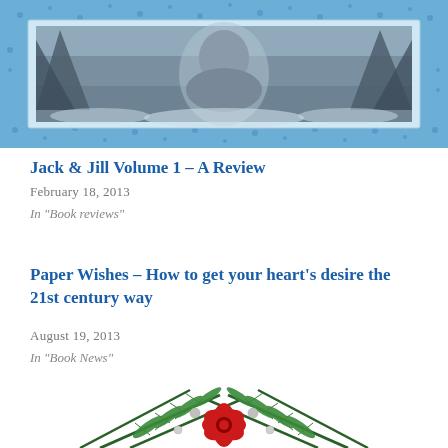[Figure (photo): Winter-themed book cover with blue snowflake border, gray image of a figure or animal in a snow scene]
Jack & Jill Volume 1 – A Review
February 18, 2013
In "Book reviews"
Paper Wishes – How to get your heart's desire the 21st century way
August 19, 2013
In "Book News"
[Figure (photo): Christmas decoration with green pine branches, red bow/poinsettia, and silver ornament balls on white background]